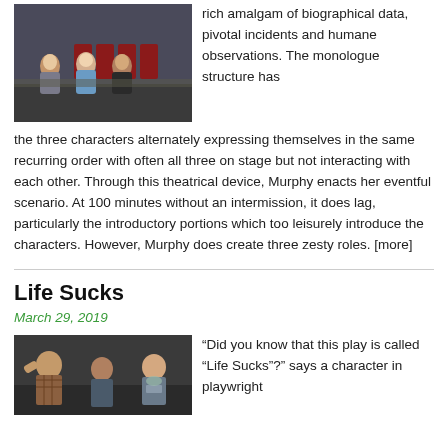[Figure (photo): Three women seated on stage in a theatre production]
rich amalgam of biographical data, pivotal incidents and humane observations. The monologue structure has the three characters alternately expressing themselves in the same recurring order with often all three on stage but not interacting with each other. Through this theatrical device, Murphy enacts her eventful scenario. At 100 minutes without an intermission, it does lag, particularly the introductory portions which too leisurely introduce the characters. However, Murphy does create three zesty roles. [more]
Life Sucks
March 29, 2019
[Figure (photo): Three actors on stage for the play 'Life Sucks']
“Did you know that this play is called “Life Sucks”?” says a character in playwright